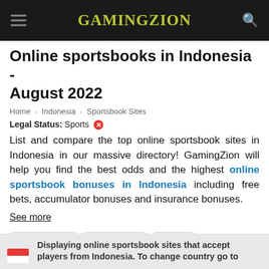GamingZion
Online sportsbooks in Indonesia - August 2022
Home > Indonesia > Sportsbook Sites
Legal Status: Sports ✗
List and compare the top online sportsbook sites in Indonesia in our massive directory! GamingZion will help you find the best odds and the highest online sportsbook bonuses in Indonesia including free bets, accumulator bonuses and insurance bonuses.
See more
Relevance  ∨   All Filters   Bitcoin   Online Sportsbook Directory
Displaying online sportsbook sites that accept players from Indonesia. To change country go to